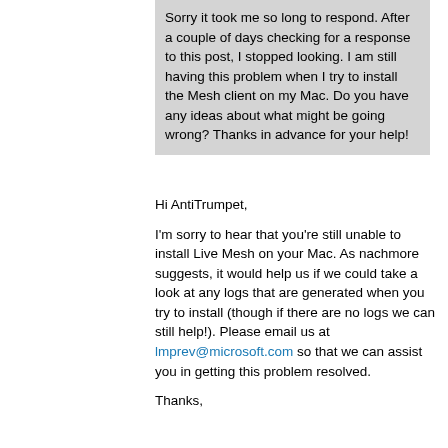Sorry it took me so long to respond.  After a couple of days checking for a response to this post, I stopped looking.  I am still having this problem when I try to install the Mesh client on my Mac.  Do you have any ideas about what might be going wrong?  Thanks in advance for your help!
Hi AntiTrumpet,

I'm sorry to hear that you're still unable to install Live Mesh on your Mac.  As nachmore suggests, it would help us if we could take a look at any logs that are generated when you try to install (though if there are no logs we can still help!).  Please email us at lmprev@microsoft.com so that we can assist you in getting this problem resolved.

Thanks,